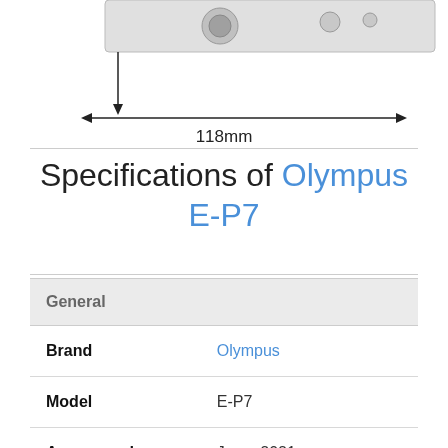[Figure (engineering-diagram): Bottom portion of a dimension diagram showing a camera with a vertical arrow pointing downward and a horizontal double-headed arrow indicating a width of 118mm.]
Specifications of Olympus E-P7
| Property | Value |
| --- | --- |
| General |  |
| Brand | Olympus |
| Model | E-P7 |
| Announced | June, 2021 |